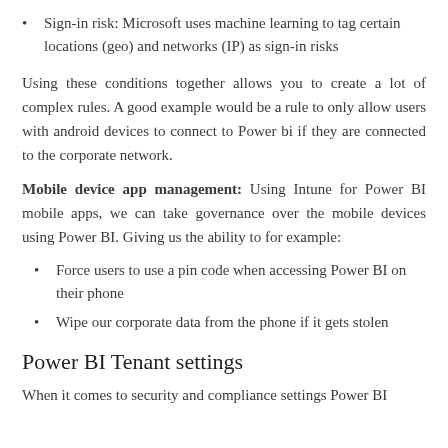Sign-in risk: Microsoft uses machine learning to tag certain locations (geo) and networks (IP) as sign-in risks
Using these conditions together allows you to create a lot of complex rules. A good example would be a rule to only allow users with android devices to connect to Power bi if they are connected to the corporate network.
Mobile device app management: Using Intune for Power BI mobile apps, we can take governance over the mobile devices using Power BI. Giving us the ability to for example:
Force users to use a pin code when accessing Power BI on their phone
Wipe our corporate data from the phone if it gets stolen
Power BI Tenant settings
When it comes to security and compliance settings Power BI